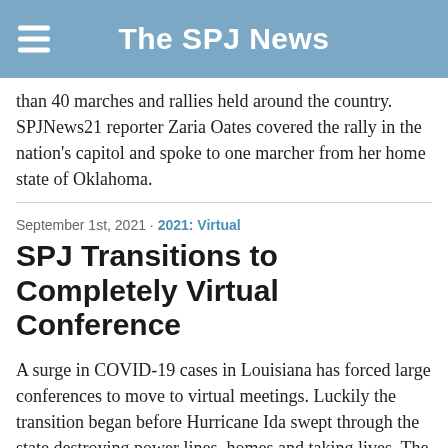The SPJ News
than 40 marches and rallies held around the country. SPJNews21 reporter Zaria Oates covered the rally in the nation's capitol and spoke to one marcher from her home state of Oklahoma.
September 1st, 2021 · 2021: Virtual
SPJ Transitions to Completely Virtual Conference
A surge in COVID-19 cases in Louisiana has forced large conferences to move to virtual meetings. Luckily the transition began before Hurricane Ida swept through the state destroying power lines, homes and taking lives. The Society of Professional Journalists will hold its annual SPJ Conference from Sept.